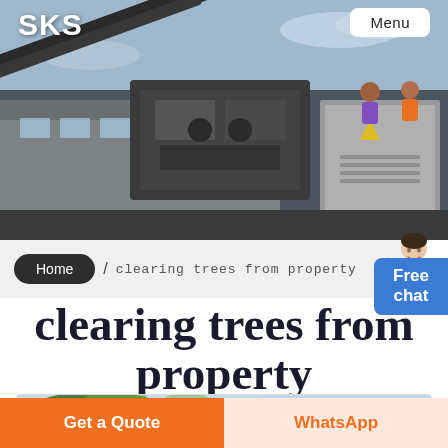[Figure (photo): Industrial machinery/crushing equipment at an outdoor facility, workers visible in background, daytime]
SKS
Menu
Home / clearing trees from property
Free chat
clearing trees from property
[Figure (photo): Trees and vegetation on a hillside or property, partial view at bottom of page]
Get a Quote
WhatsApp